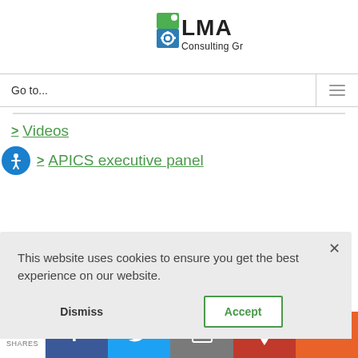[Figure (logo): LMA Consulting Group logo with green and blue gear icon]
Go to...
> Videos
> APICS executive panel
This website uses cookies to ensure you get the best experience on our website.
Dismiss   Accept
0 SHARES